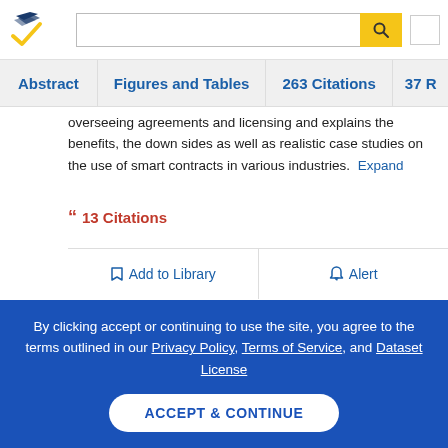Semantic Scholar — navigation header with logo, search bar, and user icon
Abstract | Figures and Tables | 263 Citations | 37 R
...overseeing agreements and licensing and explains the benefits, the down sides as well as realistic case studies on the use of smart contracts in various industries.
Expand
13 Citations
Add to Library
Alert
By clicking accept or continuing to use the site, you agree to the terms outlined in our Privacy Policy, Terms of Service, and Dataset License
ACCEPT & CONTINUE